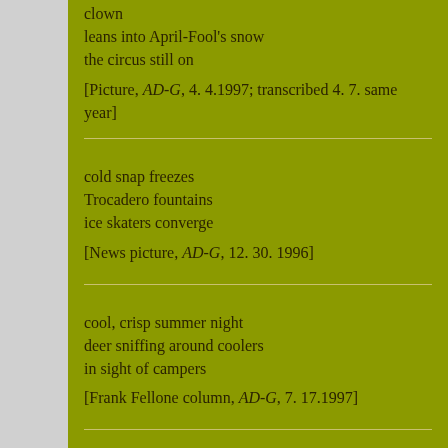clown
leans into April-Fool's snow
the circus still on

[Picture, AD-G, 4. 4.1997; transcribed 4. 7. same year]
cold snap freezes
Trocadero fountains
ice skaters converge

[News picture, AD-G, 12. 30. 1996]
cool, crisp summer night
deer sniffing around coolers
in sight of campers

[Frank Fellone column, AD-G, 7. 17.1997]
coreopsis blooms--